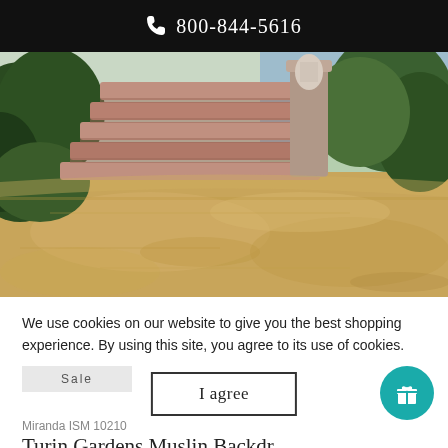800-844-5616
[Figure (illustration): Oil painting of outdoor stone steps with greenery and water in background, warm golden sandy foreground]
We use cookies on our website to give you the best shopping experience. By using this site, you agree to its use of cookies.
I agree
Sale
Miranda ISM 10210
Turin Gardens Muslin Backdrop